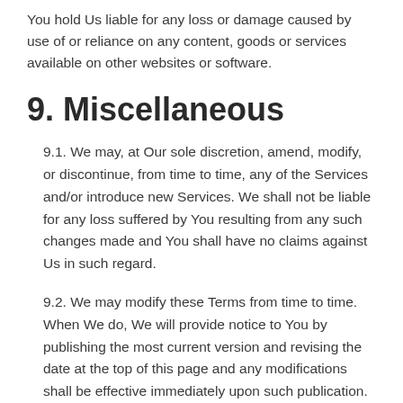You hold Us liable for any loss or damage caused by use of or reliance on any content, goods or services available on other websites or software.
9. Miscellaneous
9.1. We may, at Our sole discretion, amend, modify, or discontinue, from time to time, any of the Services and/or introduce new Services. We shall not be liable for any loss suffered by You resulting from any such changes made and You shall have no claims against Us in such regard.
9.2. We may modify these Terms from time to time. When We do, We will provide notice to You by publishing the most current version and revising the date at the top of this page and any modifications shall be effective immediately upon such publication. By continuing to use the Website after any changes come into effect, You are deemed to agree to the